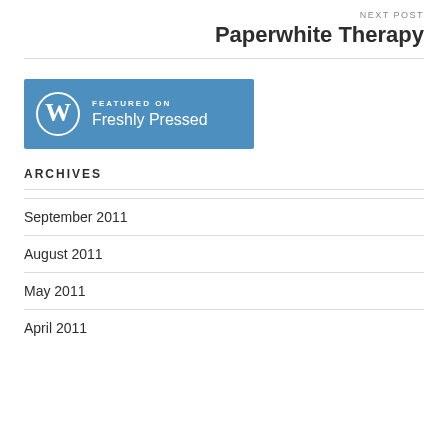NEXT POST
Paperwhite Therapy
[Figure (logo): WordPress Freshly Pressed badge — blue rectangle with WordPress logo and text 'FEATURED ON Freshly Pressed']
ARCHIVES
September 2011
August 2011
May 2011
April 2011